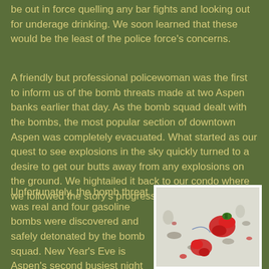Aspen police force would be out in force quelling any bar fights and looking out for underage drinking. We soon learned that these would be the least of the police force's concerns.
A friendly but professional policewoman was the first to inform us of the bomb threats made at two Aspen banks earlier that day. As the bomb squad dealt with the bombs, the most popular section of downtown Aspen was completely evacuated. What started as our quest to see explosions in the sky quickly turned to a desire to get our butts away from any explosions on the ground. We hightailed it back to our condo where we followed the story's progress on the web.
Unfortunately, the bomb threat was real and four gasoline bombs were discovered and safely detonated by the bomb squad. New Year's Eve is Aspen's second busiest night of the year
[Figure (photo): Photo showing red fabric or flowers scattered on snowy ground with hand prints visible in the snow]